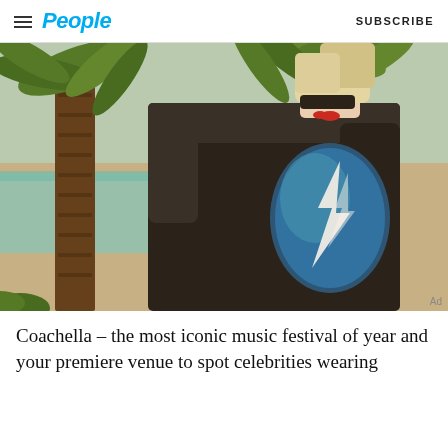People   SUBSCRIBE
[Figure (photo): Woman with blonde hair and sunglasses, wearing a black long-sleeve top with a blue lightning bolt graphic on the back, standing in front of palm trees near a pool area]
Coachella – the most iconic music festival of year and your premiere venue to spot celebrities wearing